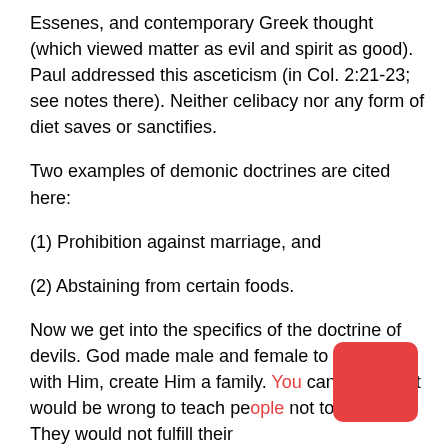Essenes, and contemporary Greek thought (which viewed matter as evil and spirit as good). Paul addressed this asceticism (in Col. 2:21-23; see notes there). Neither celibacy nor any form of diet saves or sanctifies.
Two examples of demonic doctrines are cited here:
(1) Prohibition against marriage, and
(2) Abstaining from certain foods.
Now we get into the specifics of the doctrine of devils. God made male and female to marry, and with Him, create Him a family. You can see why it would be wrong to teach people not to marry. They would not fulfill their